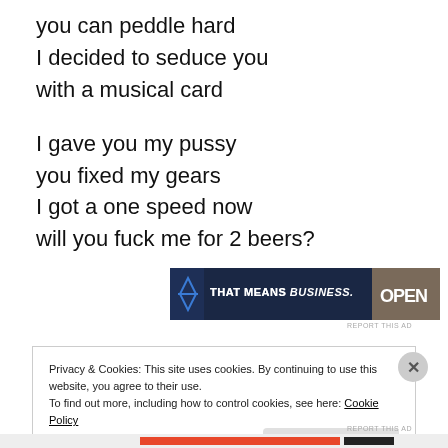you can peddle hard
I decided to seduce you
with a musical card

I gave you my pussy
you fixed my gears
I got a one speed now
will you fuck me for 2 beers?
[Figure (other): Advertisement banner with dark navy background showing 'THAT MEANS BUSINESS.' text in white bold font with 'OPEN' text visible on right side]
Privacy & Cookies: This site uses cookies. By continuing to use this website, you agree to their use.
To find out more, including how to control cookies, see here: Cookie Policy
Close and accept